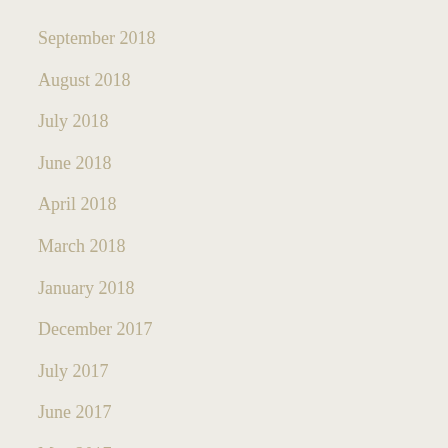September 2018
August 2018
July 2018
June 2018
April 2018
March 2018
January 2018
December 2017
July 2017
June 2017
May 2017
April 2017